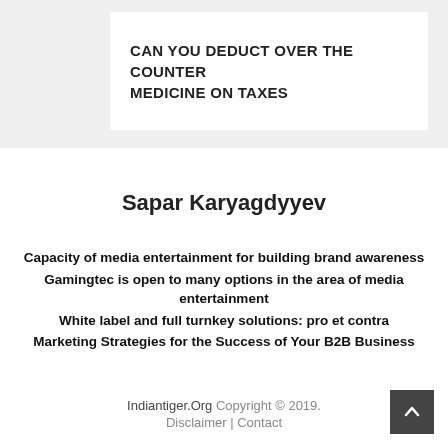CAN YOU DEDUCT OVER THE COUNTER MEDICINE ON TAXES
Sapar Karyagdyyev
Capacity of media entertainment for building brand awareness
Gamingtec is open to many options in the area of media entertainment
White label and full turnkey solutions: pro et contra
Marketing Strategies for the Success of Your B2B Business
Indiantiger.Org Copyright © 2019. Disclaimer | Contact